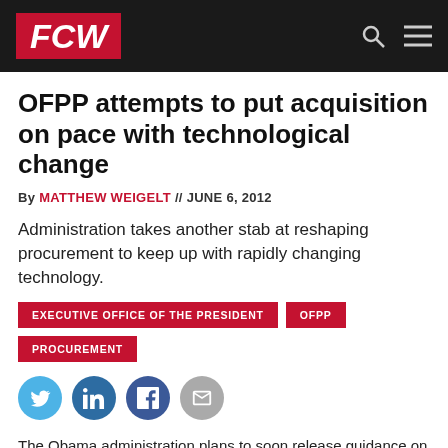FCW
OFPP attempts to put acquisition on pace with technological change
By MATTHEW WEIGELT // JUNE 6, 2012
Administration takes another stab at reshaping procurement to keep up with rapidly changing technology.
EXECUTIVE OFFICE OF THE PRESIDENT
OFPP
PROCUREMENT
[Figure (infographic): Social sharing icons: Twitter (blue circle), LinkedIn (dark blue circle), Facebook (dark blue circle), Email (grey circle)]
The Obama administration plans to soon release guidance on modular contracting, as senior IT and acquisition officials find ways to live in the fast-paced world of ever-changing technology, an